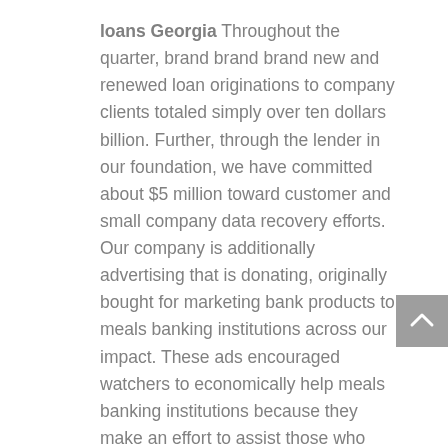loans Georgia Throughout the quarter, brand brand brand new and renewed loan originations to company clients totaled simply over ten dollars billion. Further, through the lender in our foundation, we have committed about $5 million toward customer and small company data recovery efforts. Our company is additionally advertising that is donating, originally bought for marketing bank products to meals banking institutions across our impact. These ads encouraged watchers to economically help meals banking institutions because they make an effort to assist those who work in need. As we navigate through this crisis, our groups continues to get together to determine revolutionary and significant techniques to better relate with us and provide our clients. For quite a while now, we now have communicated our aim of creating constant sustainable long-lasting performance through every cycle that is economic. Every one of our plans are designed for this concept, as a result of our focus therefore the deliberate actions we took, we joined these challenging